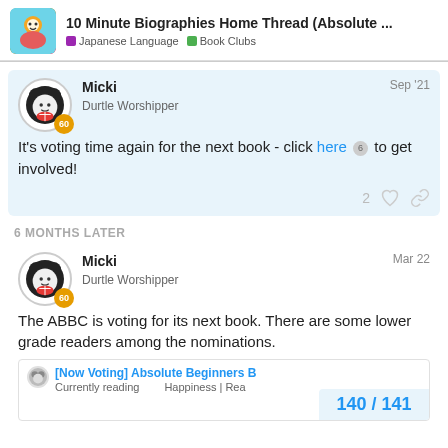10 Minute Biographies Home Thread (Absolute ... | Japanese Language | Book Clubs
Micki
Durtle Worshipper
Sep '21
It's voting time again for the next book - click here 6 to get involved!
2 ♡
6 MONTHS LATER
Micki
Durtle Worshipper
Mar 22
The ABBC is voting for its next book. There are some lower grade readers among the nominations.
[Now Voting] Absolute Beginners B
Currently reading 　　Happiness | Rea
140 / 141